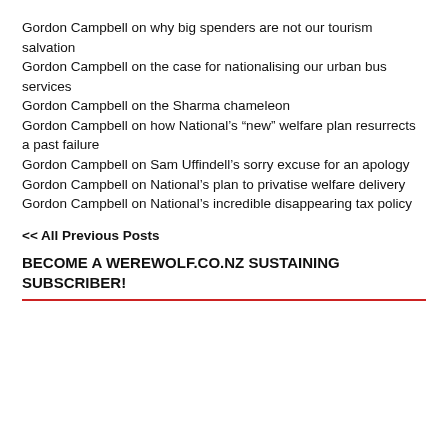Gordon Campbell on why big spenders are not our tourism salvation
Gordon Campbell on the case for nationalising our urban bus services
Gordon Campbell on the Sharma chameleon
Gordon Campbell on how National's “new” welfare plan resurrects a past failure
Gordon Campbell on Sam Uffindell’s sorry excuse for an apology
Gordon Campbell on National’s plan to privatise welfare delivery
Gordon Campbell on National’s incredible disappearing tax policy
<< All Previous Posts
BECOME A WEREWOLF.CO.NZ SUSTAINING SUBSCRIBER!